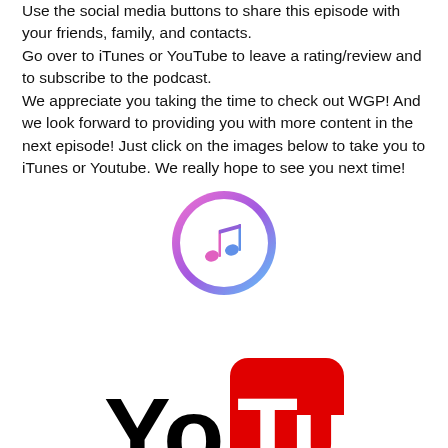Use the social media buttons to share this episode with your friends, family, and contacts. Go over to iTunes or YouTube to leave a rating/review and to subscribe to the podcast. We appreciate you taking the time to check out WGP! And we look forward to providing you with more content in the next episode! Just click on the images below to take you to iTunes or Youtube. We really hope to see you next time!
[Figure (logo): iTunes logo: a circle with a pink-to-purple gradient border, white interior, and a colorful musical note (pink and blue) in the center.]
[Figure (logo): YouTube logo: the word 'You' in bold black text followed by 'Tube' in bold white text inside a red rounded rectangle.]